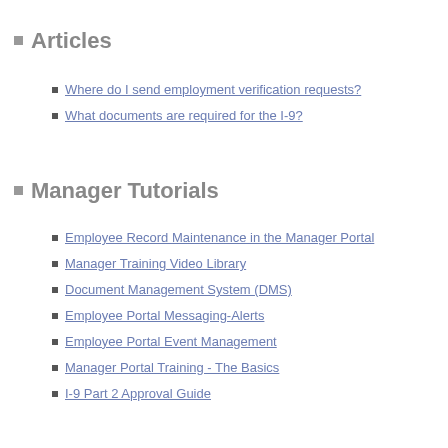Articles
Where do I send employment verification requests?
What documents are required for the I-9?
Manager Tutorials
Employee Record Maintenance in the Manager Portal
Manager Training Video Library
Document Management System (DMS)
Employee Portal Messaging-Alerts
Employee Portal Event Management
Manager Portal Training - The Basics
I-9 Part 2 Approval Guide